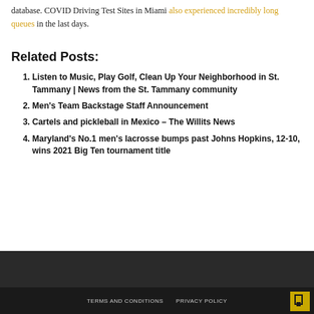database. COVID Driving Test Sites in Miami also experienced incredibly long queues in the last days.
Related Posts:
Listen to Music, Play Golf, Clean Up Your Neighborhood in St. Tammany | News from the St. Tammany community
Men's Team Backstage Staff Announcement
Cartels and pickleball in Mexico – The Willits News
Maryland's No.1 men's lacrosse bumps past Johns Hopkins, 12-10, wins 2021 Big Ten tournament title
TERMS AND CONDITIONS   PRIVACY POLICY